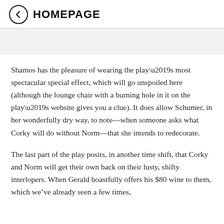HOMEPAGE
Shamos has the pleasure of wearing the play’s most spectacular special effect, which will go unspoiled here (although the lounge chair with a burning hole in it on the play’s website gives you a clue). It does allow Schumer, in her wonderfully dry way, to note—when someone asks what Corky will do without Norm—that she intends to redecorate.
The last part of the play posits, in another time shift, that Corky and Norm will get their own back on their lusty, shifty interlopers. When Gerald boastfully offers his $80 wine to them, which we’ve already seen a few times, Corky reacts with a calm, “$4, and they’ve overstopped it.”